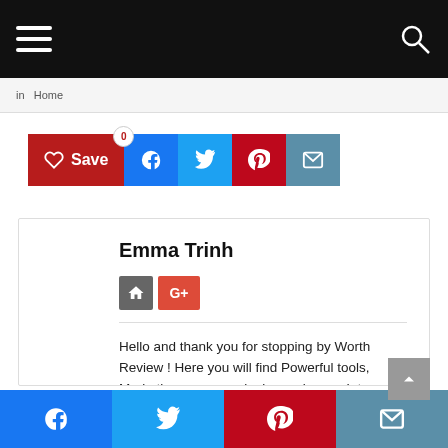Navigation bar with hamburger menu and search icon
in   Home
[Figure (screenshot): Social share buttons row: Save (red with heart icon, count 0), Facebook (blue), Twitter (light blue), Pinterest (red), Email (teal)]
Emma Trinh
[Figure (infographic): Author social icons: home icon (grey) and Google+ icon (red)]
Hello and thank you for stopping by Worth Review ! Here you will find Powerful tools, Marketing courses, plugins and many Internet Marketing Softwares tested by me, Steven Tung, creator of this product review blog. Looking for Latest and Best Internet Marketing Product ? Wanna Keep update what's happening in the IM World? You have
Bottom social share bar: Facebook, Twitter, Pinterest, Email